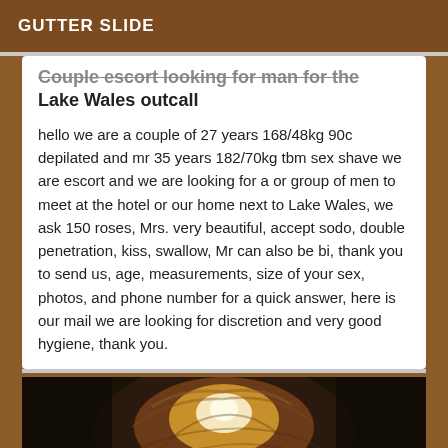GUTTER SLIDE
Couple escort looking for man for the Lake Wales outcall
hello we are a couple of 27 years 168/48kg 90c depilated and mr 35 years 182/70kg tbm sex shave we are escort and we are looking for a or group of men to meet at the hotel or our home next to Lake Wales, we ask 150 roses, Mrs. very beautiful, accept sodo, double penetration, kiss, swallow, Mr can also be bi, thank you to send us, age, measurements, size of your sex, photos, and phone number for a quick answer, here is our mail we are looking for discretion and very good hygiene, thank you.
[Figure (photo): Close-up photo of a person's hair, brightly lit from behind, with dark background]